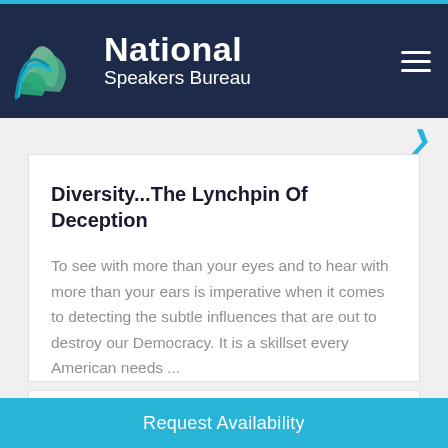[Figure (logo): National Speakers Bureau logo with teal/green wave icon and white text on dark navy background header]
Diversity...The Lynchpin Of Deception
To see with more than your eyes and to hear with more than your ears is imperative when it comes to detecting the subtle influences that are out to destroy our Democracy. It is a skillset every American needs ...
Read more
Request Availability